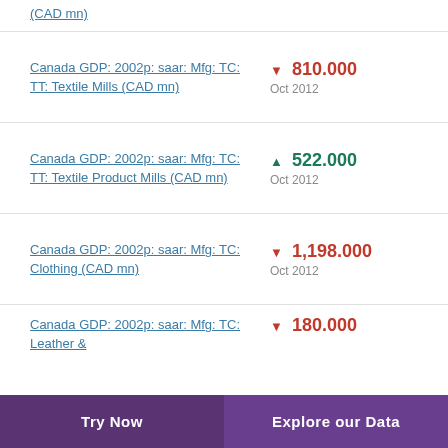(CAD mn)
Canada GDP: 2002p: saar: Mfg: TC: TT: Textile Mills (CAD mn) ▼ 810.000 Oct 2012
Canada GDP: 2002p: saar: Mfg: TC: TT: Textile Product Mills (CAD mn) ▲ 522.000 Oct 2012
Canada GDP: 2002p: saar: Mfg: TC: Clothing (CAD mn) ▼ 1,198.000 Oct 2012
Canada GDP: 2002p: saar: Mfg: TC: Leather & ... ▼ 180.000
Try Now | Explore our Data